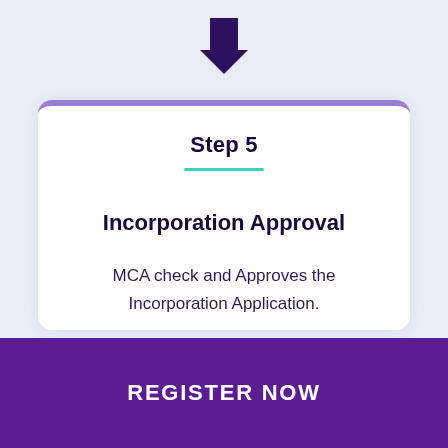[Figure (infographic): Dark purple downward arrow icon centered at top of page]
Step 5
Incorporation Approval
MCA check and Approves the Incorporation Application.
REGISTER NOW